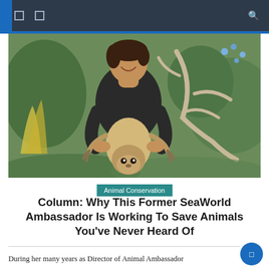Navigation bar with icons and search
[Figure (photo): A smiling woman in a black v-neck t-shirt holding a sloth upside down in a garden setting with trees, green foliage, and blue flowers in the background.]
Animal Conservation
Column: Why This Former SeaWorld Ambassador Is Working To Save Animals You've Never Heard Of
During her many years as Director of Animal Ambassador